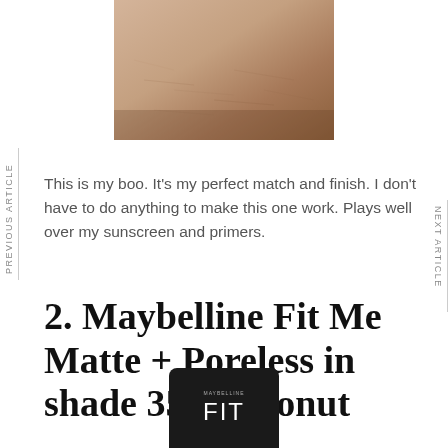[Figure (photo): Close-up photo of skin texture, cropped at top of page]
This is my boo. It's my perfect match and finish. I don't have to do anything to make this one work. Plays well over my sunscreen and primers.
2. Maybelline Fit Me Matte + Poreless in shade 355 Coconut
[Figure (photo): Product photo of Maybelline Fit Me foundation bottle, showing brand name MAYBELLINE and FIT text on dark packaging, cropped at bottom of page]